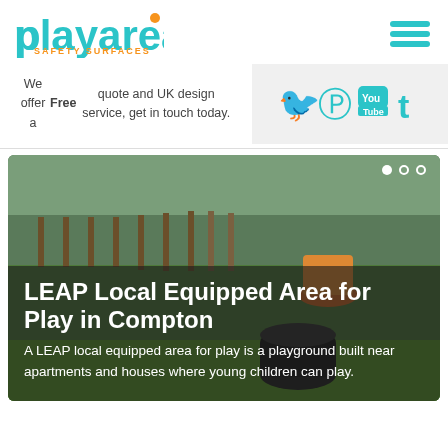[Figure (logo): playarea Safety Surfaces logo in teal with orange accent dot and orange subtitle text]
[Figure (infographic): Hamburger menu icon in teal]
We offer a Free quote and UK design service, get in touch today.
[Figure (infographic): Social media icons for Twitter, Pinterest, YouTube, and Tumblr in teal on light grey background]
[Figure (photo): Photo of a playground with green rubber safety surface, play equipment, and wooden fence in background. Overlaid with dark semi-transparent panel containing title and description text.]
LEAP Local Equipped Area for Play in Compton
A LEAP local equipped area for play is a playground built near apartments and houses where young children can play.